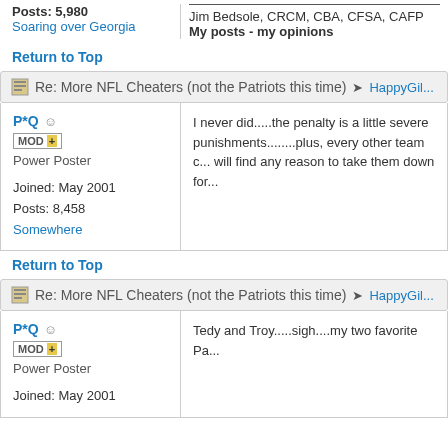Posts: 5,980
Soaring over Georgia
Jim Bedsole, CRCM, CBA, CFSA, CAFP
My posts - my opinions
Return to Top
Re: More NFL Cheaters (not the Patriots this time) → HappyGil...
P*Q 😊
MOD+
Power Poster
Joined: May 2001
Posts: 8,458
Somewhere
I never did.....the penalty is a little severe punishments........plus, every other team c... will find any reason to take them down for...
Return to Top
Re: More NFL Cheaters (not the Patriots this time) → HappyGil...
P*Q 😊
MOD+
Power Poster
Joined: May 2001
Tedy and Troy.....sigh....my two favorite Pa...